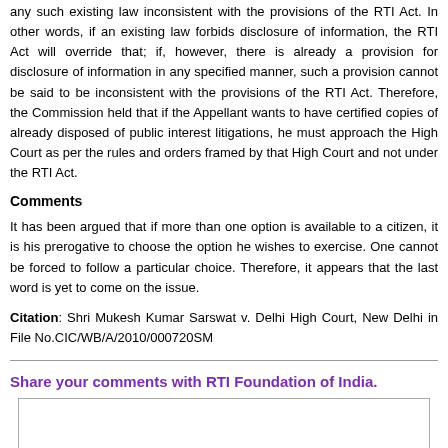any such existing law inconsistent with the provisions of the RTI Act. In other words, if an existing law forbids disclosure of information, the RTI Act will override that; if, however, there is already a provision for disclosure of information in any specified manner, such a provision cannot be said to be inconsistent with the provisions of the RTI Act. Therefore, the Commission held that if the Appellant wants to have certified copies of already disposed of public interest litigations, he must approach the High Court as per the rules and orders framed by that High Court and not under the RTI Act.
Comments
It has been argued that if more than one option is available to a citizen, it is his prerogative to choose the option he wishes to exercise. One cannot be forced to follow a particular choice. Therefore, it appears that the last word is yet to come on the issue.
Citation: Shri Mukesh Kumar Sarswat v. Delhi High Court, New Delhi in File No.CIC/WB/A/2010/000720SM
Share your comments with RTI Foundation of India.